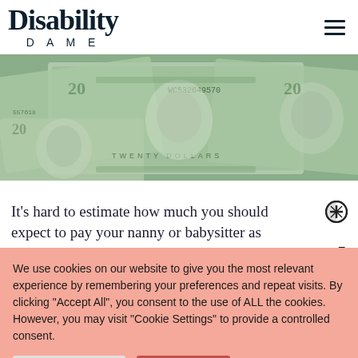Disability DAME
[Figure (photo): Overhead view of multiple US twenty dollar bills spread out, showing Andrew Jackson portraits and bill details]
It's hard to estimate how much you should expect to pay your nanny or babysitter as
We use cookies on our website to give you the most relevant experience by remembering your preferences and repeat visits. By clicking "Accept All", you consent to the use of ALL the cookies. However, you may visit "Cookie Settings" to provide a controlled consent.